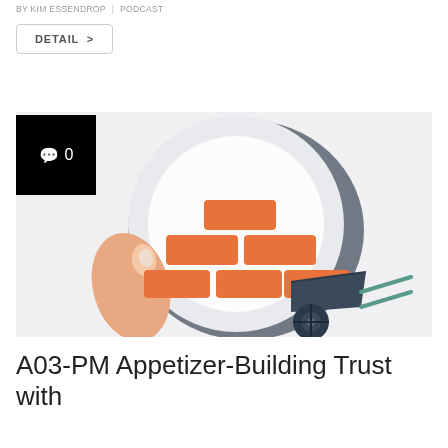BY KIM ESSENDROP | PODCAST
DETAIL >
[Figure (illustration): Illustration of a hand holding bricks being stacked, with a wheelbarrow nearby, on a circular background — representing trust-building concept]
A03-PM Appetizer-Building Trust with